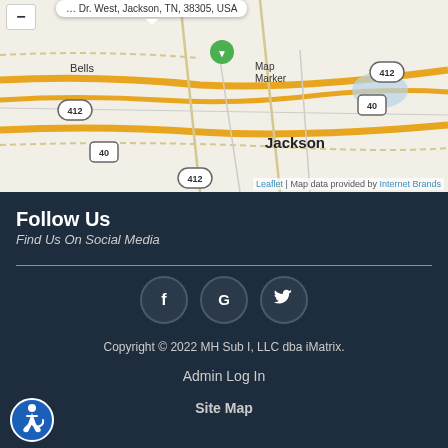[Figure (map): Leaflet map showing Jackson, TN area with highway markers 412 and 40, centered on a map marker near Jackson. Shows Bells to the west. Attribution: Leaflet | Map data provided by Internet Brands.]
Follow Us
Find Us On Social Media
[Figure (infographic): Three circular social media icon buttons: Facebook (f), Google (G), Twitter (bird icon)]
Copyright © 2022 MH Sub I, LLC dba iMatrix.
Admin Log In
Site Map
[Figure (illustration): Blue circular accessibility icon showing a person in a wheelchair]